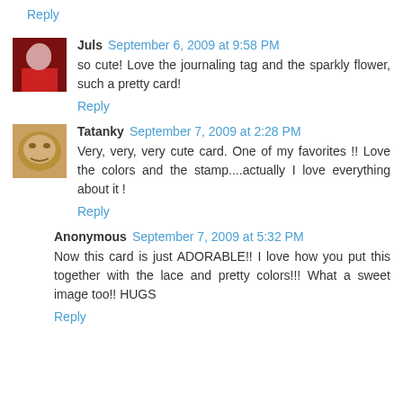Reply
Juls  September 6, 2009 at 9:58 PM
so cute! Love the journaling tag and the sparkly flower, such a pretty card!
Reply
Tatanky  September 7, 2009 at 2:28 PM
Very, very, very cute card. One of my favorites !! Love the colors and the stamp....actually I love everything about it !
Reply
Anonymous  September 7, 2009 at 5:32 PM
Now this card is just ADORABLE!! I love how you put this together with the lace and pretty colors!!! What a sweet image too!! HUGS
Reply